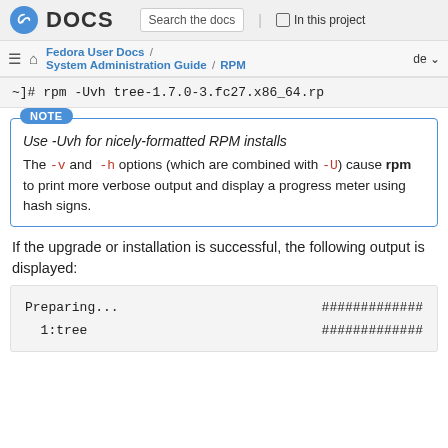Fedora DOCS — Search the docs — In this project
Fedora User Docs / System Administration Guide / RPM — de
~]# rpm -Uvh tree-1.7.0-3.fc27.x86_64.rp
NOTE
Use -Uvh for nicely-formatted RPM installs
The -v and -h options (which are combined with -U) cause rpm to print more verbose output and display a progress meter using hash signs.
If the upgrade or installation is successful, the following output is displayed:
Preparing...                          #############
  1:tree                              #############